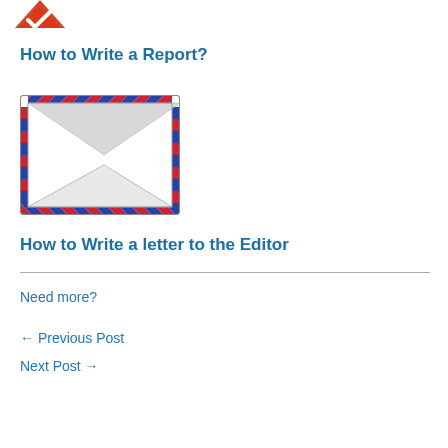[Figure (illustration): Partial red checkmark/badge icon visible at top of page, cropped]
How to Write a Report?
[Figure (illustration): Air mail envelope icon with red and blue diagonal border stripes, white envelope body with V-flap fold lines]
How to Write a letter to the Editor
Need more?
← Previous Post
Next Post →